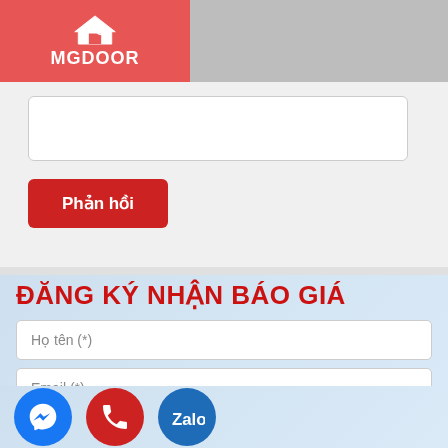[Figure (logo): MGDoor logo with house icon on red background]
Phản hồi (button)
ĐĂNG KÝ NHẬN BÁO GIÁ
Họ tên (*)
Email (*)
Số điện thoại (*)
Địa Chỉ